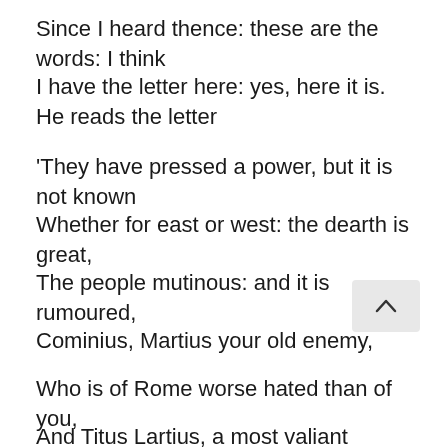Since I heard thence: these are the words: I think
I have the letter here: yes, here it is. He reads the letter
'They have pressed a power, but it is not known
Whether for east or west: the dearth is great,
The people mutinous: and it is rumoured,
Cominius, Martius your old enemy,
Who is of Rome worse hated than of you,
And Titus Lartius, a most valiant Roman,